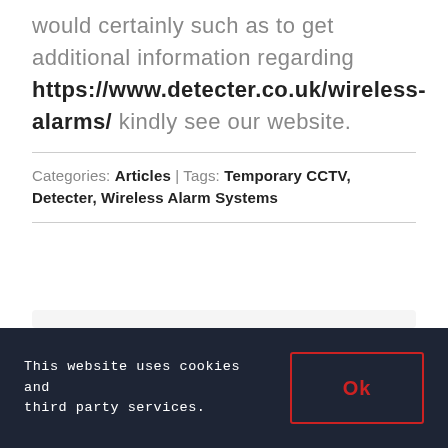would certainly such as to get additional information regarding https://www.detecter.co.uk/wireless-alarms/ kindly see our website.
Categories: Articles | Tags: Temporary CCTV, Detecter, Wireless Alarm Systems
Share!
[Figure (other): Row of social sharing icon buttons: Facebook, Twitter, LinkedIn, WhatsApp, Email]
This website uses cookies and third party services.
Ok